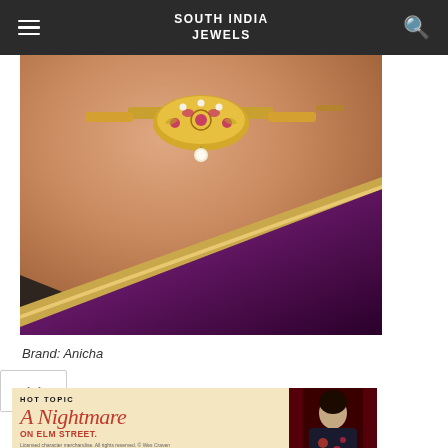SOUTH INDIA JEWELS
[Figure (photo): Close-up photo of a woman wearing a traditional Indian gold choker necklace with ruby stones and pearl drops, wearing a purple silk saree with gold border]
Brand: Anicha
[Figure (screenshot): Hot Topic advertisement for A Nightmare on Elm Street merchandise with Shop Now button and model wearing themed jacket]